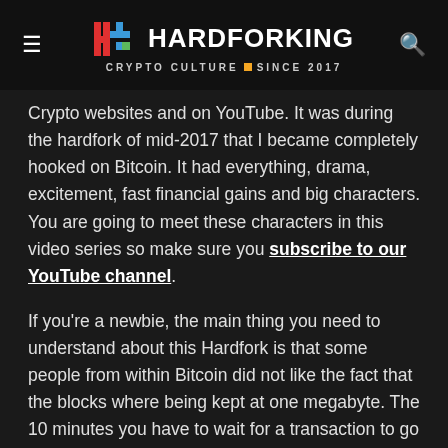HARDFORKING — CRYPTO CULTURE SINCE 2017
Crypto websites and on YouTube. It was during the hardfork of mid-2017 that I became completely hooked on Bitcoin. It had everything, drama, excitement, fast financial gains and big characters. You are going to meet these characters in this video series so make sure you subscribe to our YouTube channel.
If you're a newbie, the main thing you need to understand about this Hardfork is that some people from within Bitcoin did not like the fact that the blocks where being kept at one megabyte. The 10 minutes you have to wait for a transaction to go through would hold Bitcoins adoption back in their opinion.
The Pizza night in Singapore to celebrate 9 years of pain for the guy who spent 10000 Bitcoin on two pizzas was